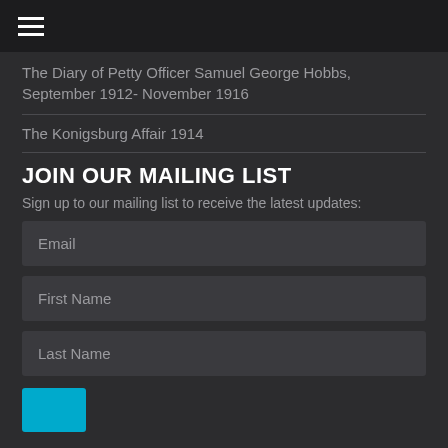The Diary of Petty Officer Samuel George Hobbs, September 1912- November 1916
The Konigsburg Affair 1914
JOIN OUR MAILING LIST
Sign up to our mailing list to receive the latest updates:
Email
First Name
Last Name